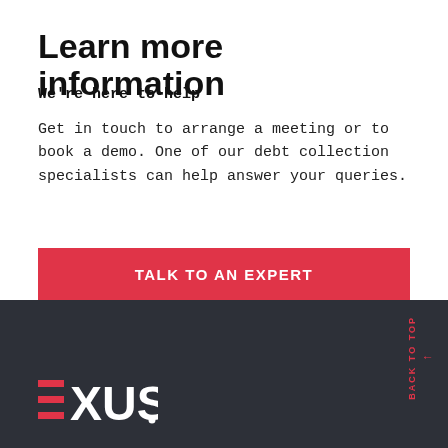Learn more information
We're here to help
Get in touch to arrange a meeting or to book a demo. One of our debt collection specialists can help answer your queries.
TALK TO AN EXPERT
[Figure (logo): EXUS company logo in white on dark background, with red horizontal lines forming the E character]
BACK TO TOP